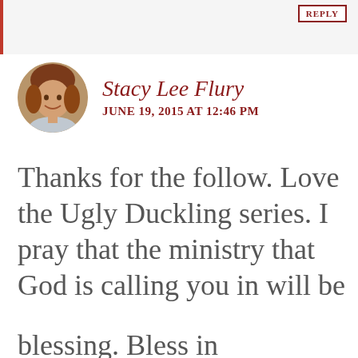REPLY
Stacy Lee Flury
JUNE 19, 2015 AT 12:46 PM
Thanks for the follow. Love the Ugly Duckling series. I pray that the ministry that God is calling you in will be
Privacy & Cookies: This site uses cookies. By continuing to use this website, you agree to their use.
To find out more, including how to control cookies, see here: Cookie Policy
Close and accept
blessing. Bless in